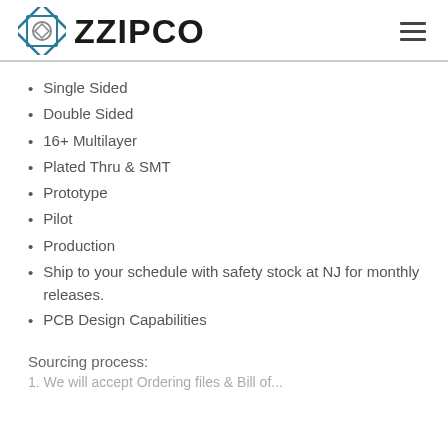ZZIPCO
Single Sided
Double Sided
16+ Multilayer
Plated Thru & SMT
Prototype
Pilot
Production
Ship to your schedule with safety stock at NJ for monthly releases.
PCB Design Capabilities
Sourcing process: